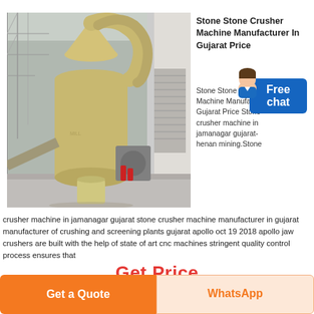[Figure (photo): Industrial stone crusher / grinding mill machine inside a warehouse/factory setting. Large beige/tan colored vertical mill with cylindrical body and curved pipes/ducts. Background shows metal scaffolding and industrial equipment.]
Stone Stone Crusher Machine Manufacturer In Gujarat Price
Stone Stone Crusher Machine Manufacturer Gujarat Price Stone crusher machine in jamanagar gujarat-henan mining.Stone crusher machine in jamanagar gujarat stone crusher machine manufacturer in gujarat manufacturer of crushing and screening plants gujarat apollo oct 19 2018 apollo jaw crushers are built with the help of state of art cnc machines stringent quality control process ensures that
Get Price
Get a Quote
WhatsApp